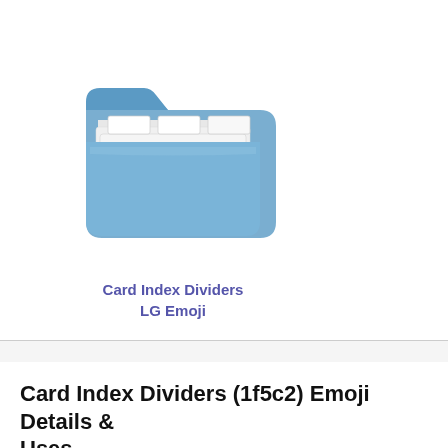[Figure (illustration): A blue folder emoji in the LG style, showing an open folder with paper/tab dividers inside, rendered in a light blue color with white paper tabs visible.]
Card Index Dividers
LG Emoji
Card Index Dividers (1f5c2) Emoji Details & Uses